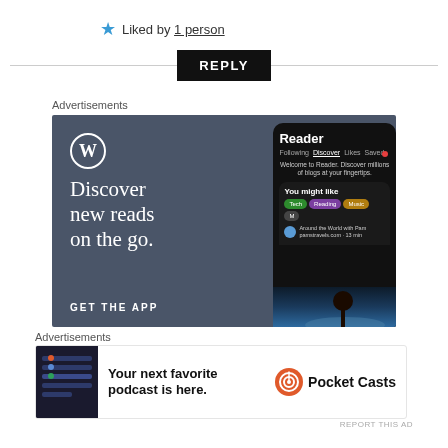★ Liked by 1 person
REPLY
Advertisements
[Figure (screenshot): WordPress app advertisement showing 'Discover new reads on the go.' with Reader app interface screenshot and 'GET THE APP' call to action on a dark slate background]
Advertisements
[Figure (screenshot): Pocket Casts advertisement: 'Your next favorite podcast is here.' with Pocket Casts logo and app screenshot]
REPORT THIS AD